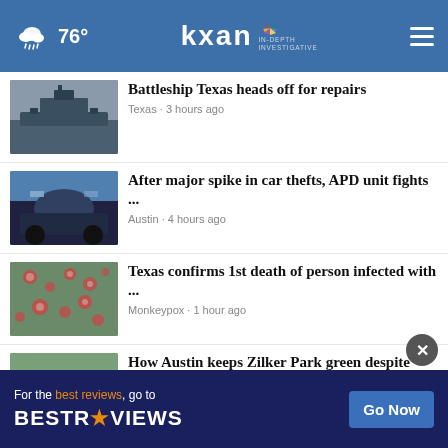76° kxan IN-DEPTH INVESTIGATIVE
Battleship Texas heads off for repairs
Texas • 3 hours ago
After major spike in car thefts, APD unit fights ...
Austin • 4 hours ago
Texas confirms 1st death of person infected with ...
Monkeypox • 1 hour ago
How Austin keeps Zilker Park green despite ongoing ...
Austin • 5 hours ago
Rail advocates call on state to invest in freight ...
Austin • 6 hours ago
For the best reviews, go to BESTREVIEWS Go Now